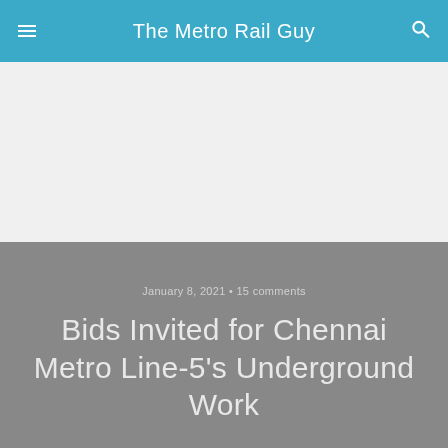The Metro Rail Guy
January 8, 2021 • 15 comments
Bids Invited for Chennai Metro Line-5's Underground Work